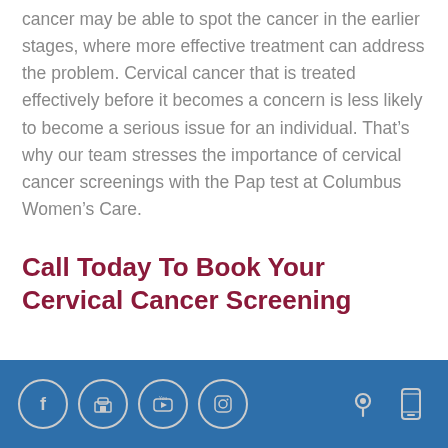cancer may be able to spot the cancer in the earlier stages, where more effective treatment can address the problem. Cervical cancer that is treated effectively before it becomes a concern is less likely to become a serious issue for an individual. That's why our team stresses the importance of cervical cancer screenings with the Pap test at Columbus Women's Care.
Call Today To Book Your Cervical Cancer Screening
[Figure (other): Footer bar with social media icons (Facebook, Google My Business, YouTube, Instagram) and location/mobile icons on the right, on a blue background.]